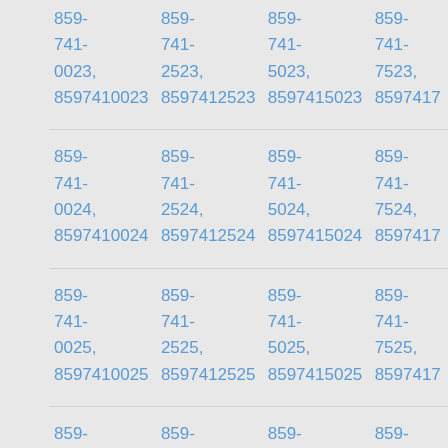| 859-
741-
0023,
8597410023 | 859-
741-
2523,
8597412523 | 859-
741-
5023,
8597415023 | 859-
741-
7523,
8597417523 |
| 859-
741-
0024,
8597410024 | 859-
741-
2524,
8597412524 | 859-
741-
5024,
8597415024 | 859-
741-
7524,
8597417524 |
| 859-
741-
0025,
8597410025 | 859-
741-
2525,
8597412525 | 859-
741-
5025,
8597415025 | 859-
741-
7525,
8597417525 |
| 859-
741-
0026,
8597410026 | 859-
741-
2526,
8597412526 | 859-
741-
5026,
8597415026 | 859-
741-
7526,
8597417526 |